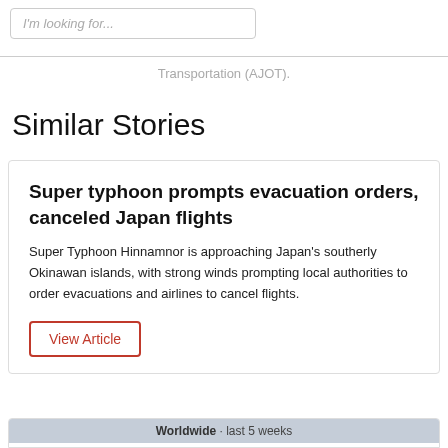I'm looking for...
Transportation (AJOT).
Similar Stories
Super typhoon prompts evacuation orders, canceled Japan flights
Super Typhoon Hinnamnor is approaching Japan's southerly Okinawan islands, with strong winds prompting local authorities to order evacuations and airlines to cancel flights.
View Article
Worldwide · last 5 weeks